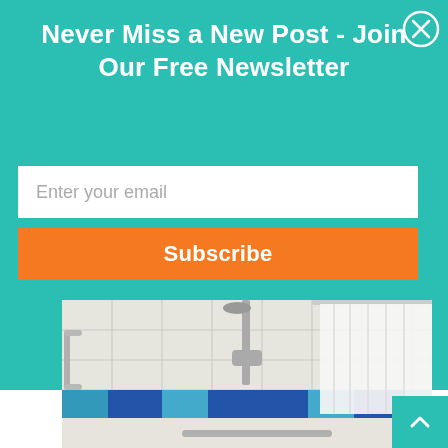Never Miss a New Post - Join Our Free Newsletter
Enter your email
Subscribe
[Figure (photo): Bathroom shower area with white tiles, blue and teal tile border, stainless steel grab bar on left wall, shower column with showerhead, and white shower curtain on the right side.]